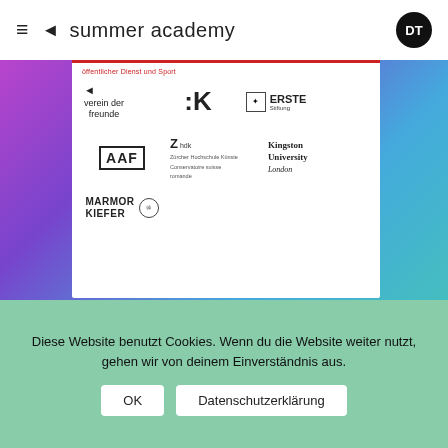summer academy DT
öffentlicher Dienst und Sport
[Figure (logo): Partner logos: verein der freunde, :K, ERSTE Stiftung, AAF, ZHdK (Zürcher Hochschule der Künste), Kingston University London, MARMOR KIEFER]
Diese Website benutzt Cookies. Wenn du die Website weiter nutzt, gehen wir von deinem Einverständnis aus.
OK
Datenschutzerklärung